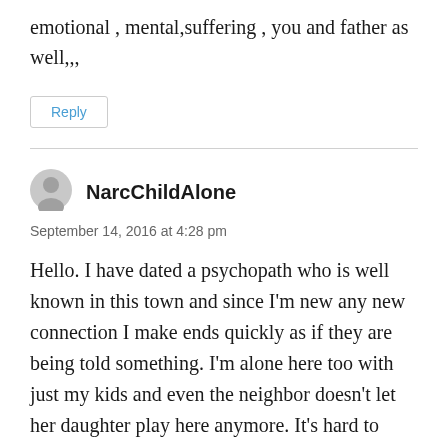emotional , mental,suffering , you and father as well,,,
Reply
NarcChildAlone
September 14, 2016 at 4:28 pm
Hello. I have dated a psychopath who is well known in this town and since I'm new any new connection I make ends quickly as if they are being told something. I'm alone here too with just my kids and even the neighbor doesn't let her daughter play here anymore. It's hard to digest that I've been so kind to